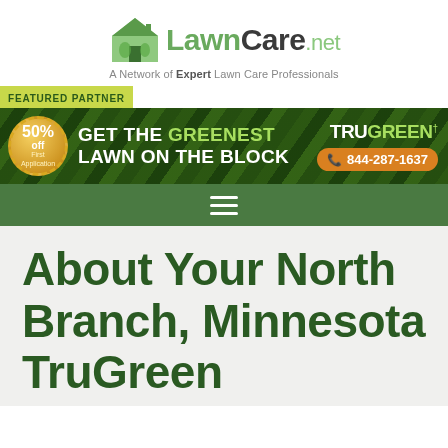[Figure (logo): LawnCare.net logo with house icon and tagline 'A Network of Expert Lawn Care Professionals']
[Figure (infographic): TruGreen featured partner banner: '50% off First Application - GET THE GREENEST LAWN ON THE BLOCK - TRUGREEN - 844-287-1637']
≡ navigation menu bar
About Your North Branch, Minnesota TruGreen